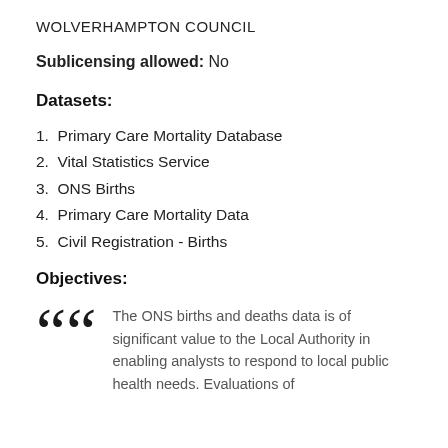WOLVERHAMPTON COUNCIL
Sublicensing allowed: No
Datasets:
1.  Primary Care Mortality Database
2.  Vital Statistics Service
3.  ONS Births
4.  Primary Care Mortality Data
5.  Civil Registration - Births
Objectives:
The ONS births and deaths data is of significant value to the Local Authority in enabling analysts to respond to local public health needs. Evaluations of